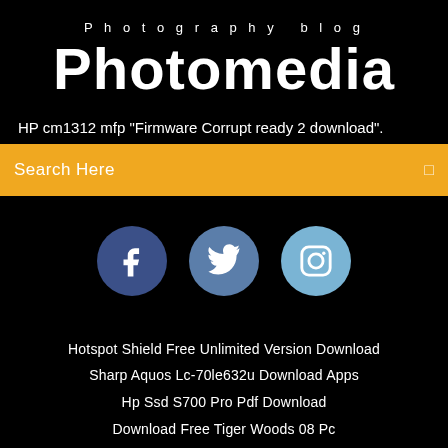Photography blog
Photomedia
HP cm1312 mfp "Firmware Corrupt ready 2 download".
Search Here
[Figure (infographic): Three social media icon circles: Facebook (dark blue), Twitter (medium blue), Instagram (light blue)]
Hotspot Shield Free Unlimited Version Download
Sharp Aquos Lc-70le632u Download Apps
Hp Ssd S700 Pro Pdf Download
Download Free Tiger Woods 08 Pc